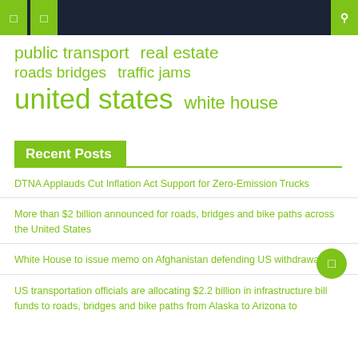Navigation bar with menu and search icons
public transport  real estate
roads bridges  traffic jams
united states  white house
Recent Posts
DTNA Applauds Cut Inflation Act Support for Zero-Emission Trucks
More than $2 billion announced for roads, bridges and bike paths across the United States
White House to issue memo on Afghanistan defending US withdrawal
US transportation officials are allocating $2.2 billion in infrastructure bill funds to roads, bridges and bike paths from Alaska to Arizona to